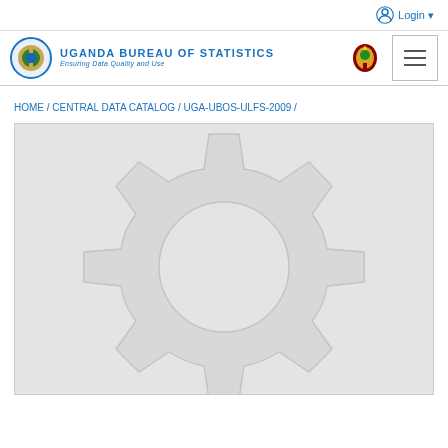Login
[Figure (logo): Uganda Bureau of Statistics logo with circular emblem and national crest]
UGANDA BUREAU OF STATISTICS — Ensuring Data Quality and Use
HOME / CENTRAL DATA CATALOG / UGA-UBOS-ULFS-2009 /
[Figure (illustration): Gear/cog icon placeholder image on grey background]